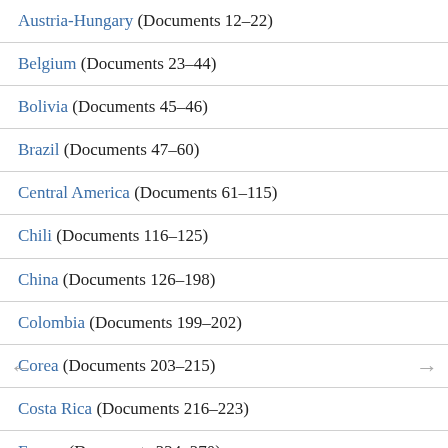Austria-Hungary (Documents 12-22)
Belgium (Documents 23-44)
Bolivia (Documents 45-46)
Brazil (Documents 47-60)
Central America (Documents 61-115)
Chili (Documents 116-125)
China (Documents 126-198)
Colombia (Documents 199-202)
Corea (Documents 203-215)
Costa Rica (Documents 216-223)
France (Documents 224-270)